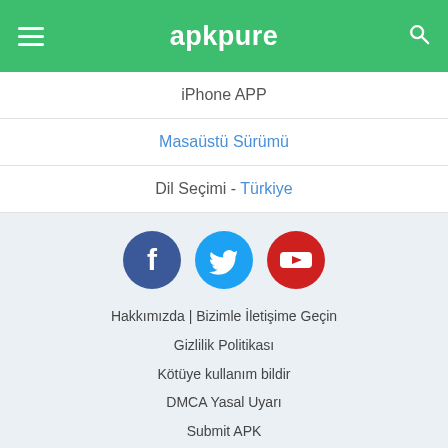apkpure
iPhone APP
Masaüstü Sürümü
Dil Seçimi - Türkiye
[Figure (logo): Social media icons: Facebook (blue circle), Twitter (cyan circle), YouTube (red circle)]
Hakkımızda | Bizimle İletişime Geçin
Gizlilik Politikası
Kötüye kullanım bildir
DMCA Yasal Uyarı
Submit APK
Geliştirici Konsolu
APKPure.com © 2014-2022